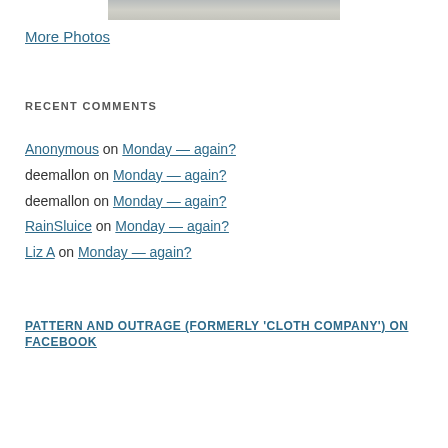[Figure (photo): Top portion of a photo, partially visible at the top of the page]
More Photos
RECENT COMMENTS
Anonymous on Monday — again?
deemallon on Monday — again?
deemallon on Monday — again?
RainSluice on Monday — again?
Liz A on Monday — again?
PATTERN AND OUTRAGE (FORMERLY 'CLOTH COMPANY') ON FACEBOOK